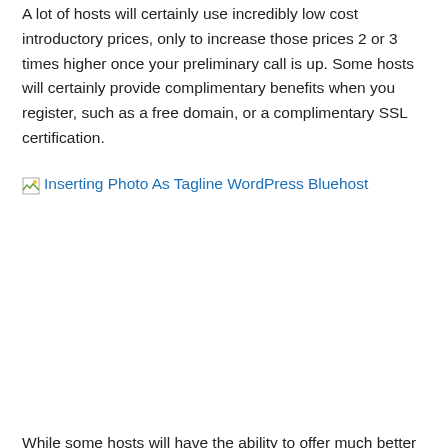A lot of hosts will certainly use incredibly low cost introductory prices, only to increase those prices 2 or 3 times higher once your preliminary call is up. Some hosts will certainly provide complimentary benefits when you register, such as a free domain, or a complimentary SSL certification.
[Figure (other): Broken image placeholder with link text 'Inserting Photo As Tagline WordPress Bluehost']
While some hosts will have the ability to offer much better performance as well as high degrees of security.
Below we dive deep into the best low-cost webhosting plan there.